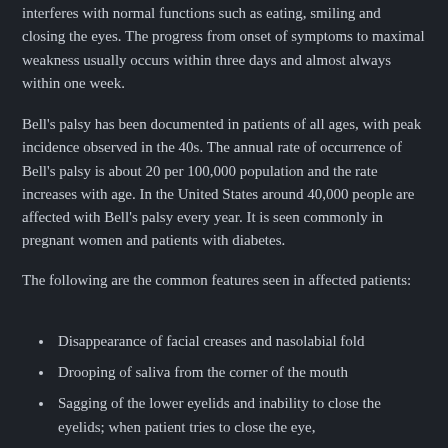interferes with normal functions such as eating, smiling and closing the eyes. The progress from onset of symptoms to maximal weakness usually occurs within three days and almost always within one week.
Bell's palsy has been documented in patients of all ages, with peak incidence observed in the 40s. The annual rate of occurrence of Bell's palsy is about 20 per 100,000 population and the rate increases with age. In the United States around 40,000 people are affected with Bell's palsy every year. It is seen commonly in pregnant women and patients with diabetes.
The following are the common features seen in affected patients:
Disappearance of facial creases and nasolabial fold
Drooping of saliva from the corner of the mouth
Sagging of the lower eyelids and inability to close the eyelids; when patient tries to close the eye,